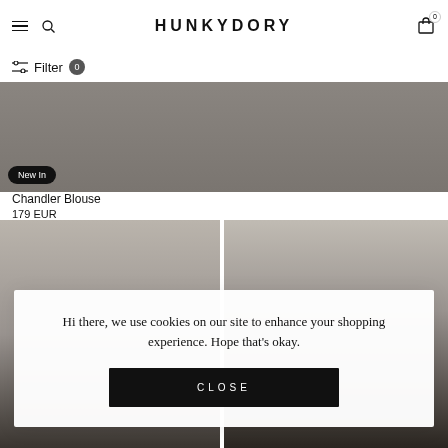HUNKYDORY
Filter 0
[Figure (photo): Model wearing dark clothing, cropped lower body visible, against a grey background. 'New In' badge shown.]
Chandler Blouse
179 EUR
[Figure (photo): Model with short dark hair wearing a dark top, against a light grey background.]
[Figure (photo): Model with long wavy blonde hair wearing a dark top, against a light grey background.]
Hi there, we use cookies on our site to enhance your shopping experience. Hope that's okay.
CLOSE